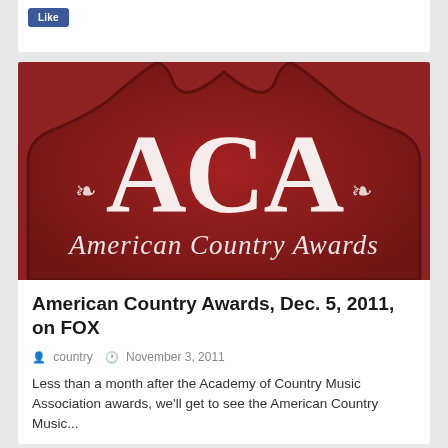[Figure (logo): ACA American Country Awards logo on dark red crown-shaped background with large white ACA letters and script text reading American Country Awards]
American Country Awards, Dec. 5, 2011, on FOX
country   November 3, 2011
Less than a month after the Academy of Country Music Association awards, we'll get to see the American Country Music...